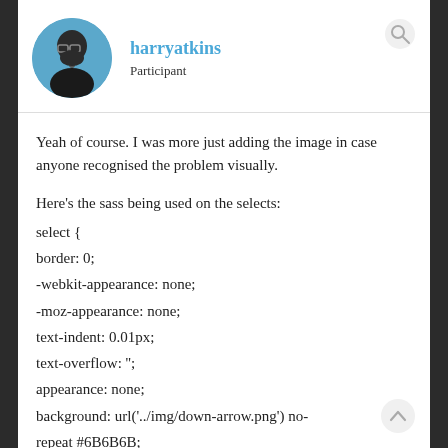[Figure (photo): Circular avatar photo of a man with glasses and dark beard against a blue background]
harryatkins
Participant
Yeah of course. I was more just adding the image in case anyone recognised the problem visually.
Here's the sass being used on the selects:
select {
border: 0;
-webkit-appearance: none;
-moz-appearance: none;
text-indent: 0.01px;
text-overflow: '';
appearance: none;
background: url('../img/down-arrow.png') no-repeat #6B6B6B;